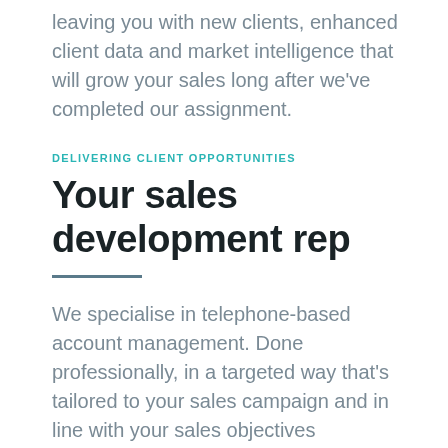leaving you with new clients, enhanced client data and market intelligence that will grow your sales long after we've completed our assignment.
DELIVERING CLIENT OPPORTUNITIES
Your sales development rep
We specialise in telephone-based account management. Done professionally, in a targeted way that's tailored to your sales campaign and in line with your sales objectives